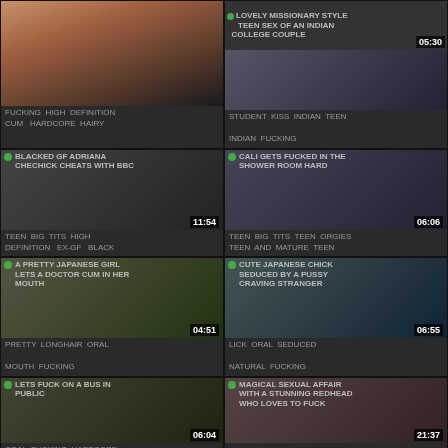[Figure (screenshot): Top-left video thumbnail showing skin/body close-up]
FUCKING HIGH DEFINITION CUM HARDCORE HAIRY
[Figure (screenshot): Top-right video: LOVELY MISSIONARY STYLE TEEN SEX OF AN INDIAN COLLEGE COUPLE 05:30]
STUDENT KISS INDIAN TEEN INDIAN FUCKING
[Figure (screenshot): BLACKED GF ADRIANA CHECHICK CHEATS WITH BBC 11:54]
TEEN BIG TITS HIGH DEFINITION EX-GF BLACK
[Figure (screenshot): CALI GETS FUCKED IN THE SHOWER ROOM HARD 06:06]
TEEN BIG TITS TEEN ORGIES TEEN AND MATURE TEEN
[Figure (screenshot): A PRETTY JAPANESE GIRL LETS A DOCTOR CUM IN HER MOUTH 04:51]
PRETTY LONGHAIR ORAL MOUTH FUCKING
[Figure (screenshot): CUTE JAPANESE CHICK SEDUCED BY A PUSSY CRAVING STRANGER 06:55]
LICK ORAL SEDUCED NATURAL FUCKING
[Figure (screenshot): LETS FUCK ON A BUS IN PUBLIC 06:04]
ORAL FUCKING HARDCORE
[Figure (screenshot): MAGICAL SEXUAL AFFAIR WITH A STUNNING REDHEAD WHO LOVES TO FUCK 21:37]